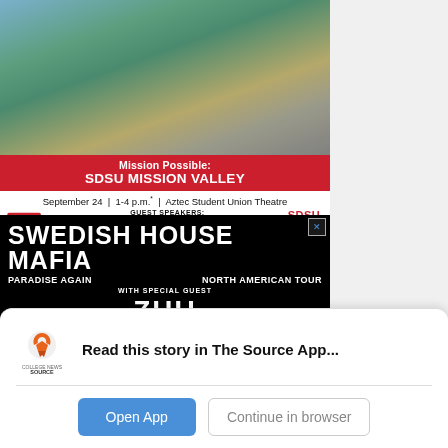[Figure (photo): Aerial/landscape photo of SDSU Mission Valley campus area with green spaces and buildings]
Mission Possible: SDSU MISSION VALLEY
September 24 | 1-4 p.m.* | Aztec Student Union Theatre
GUEST SPEAKERS: Gina Jacobs | Adam Christian | Paul Jackson Glen Schmidt | Stanley Maloy *Subject to Football Game Time Announcement
[Figure (illustration): Swedish House Mafia - Paradise Again North American Tour advertisement featuring ZHU as special guest at Pechanga Arena]
Read this story in The Source App...
Open App
Continue in browser